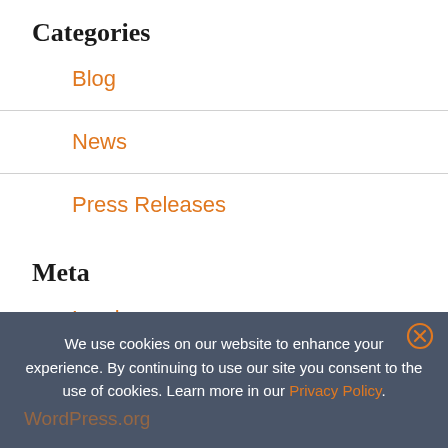Categories
Blog
News
Press Releases
Meta
Log in
We use cookies on our website to enhance your experience. By continuing to use our site you consent to the use of cookies. Learn more in our Privacy Policy.
WordPress.org